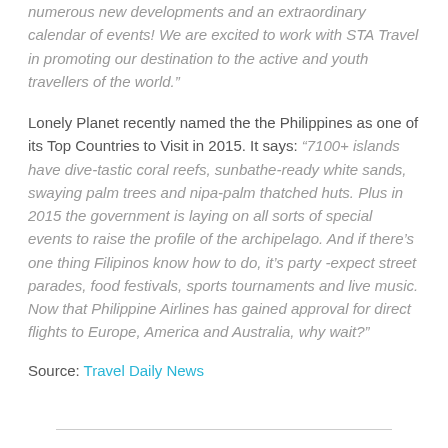numerous new developments and an extraordinary calendar of events! We are excited to work with STA Travel in promoting our destination to the active and youth travellers of the world.”
Lonely Planet recently named the the Philippines as one of its Top Countries to Visit in 2015. It says: “7100+ islands have dive-tastic coral reefs, sunbathe-ready white sands, swaying palm trees and nipa-palm thatched huts. Plus in 2015 the government is laying on all sorts of special events to raise the profile of the archipelago. And if there’s one thing Filipinos know how to do, it’s party -expect street parades, food festivals, sports tournaments and live music. Now that Philippine Airlines has gained approval for direct flights to Europe, America and Australia, why wait?”
Source: Travel Daily News